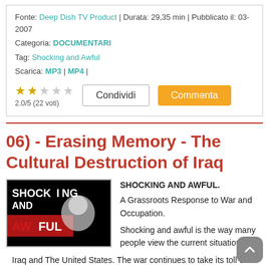Fonte: Deep Dish TV Product | Durata: 29,35 min | Pubblicato il: 03-2007
Categoria: DOCUMENTARI
Tag: Shocking and Awful
Scarica: MP3 | MP4 |
2.0/5 (22 voti)
06) - Erasing Memory - The Cultural Destruction of Iraq
[Figure (photo): Thumbnail image with black background showing 'SHOCKING AND AWFUL' text in white and red, with a cartoon figure]
SHOCKING AND AWFUL. A Grassroots Response to War and Occupation. Shocking and awful is the way many people view the current situation in Iraq and The United States. The war continues to take its toll on Iraqi civilians, international aid workers, journalists and U.S. troops. Here at home we are seeing how living in a state of